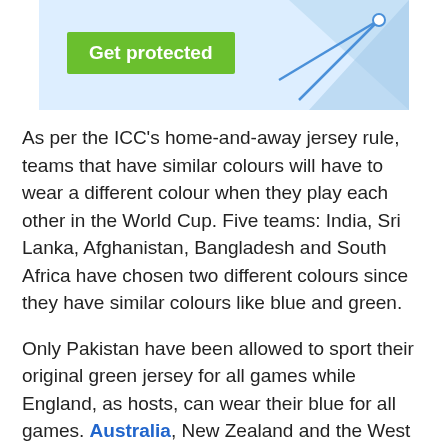[Figure (illustration): Advertisement banner with green 'Get protected' button and blue geometric graphic on light blue background]
As per the ICC’s home-and-away jersey rule, teams that have similar colours will have to wear a different colour when they play each other in the World Cup. Five teams: India, Sri Lanka, Afghanistan, Bangladesh and South Africa have chosen two different colours since they have similar colours like blue and green.
Only Pakistan have been allowed to sport their original green jersey for all games while England, as hosts, can wear their blue for all games. Australia, New Zealand and the West Indies have been exempted from the rule because of their unique